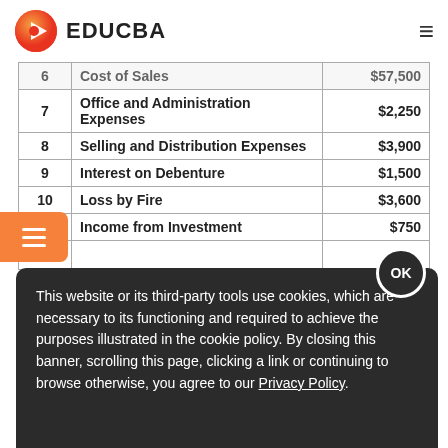EDUCBA
| # | Description | Amount |
| --- | --- | --- |
| 6 | Cost of Sales | $57,500 |
| 7 | Office and Administration Expenses | $2,250 |
| 8 | Selling and Distribution Expenses | $3,900 |
| 9 | Interest on Debenture | $1,500 |
| 10 | Loss by Fire | $3,600 |
| 11 | Income from Investment | $750 |
| 12 |  |  |
Solutions:
This website or its third-party tools use cookies, which are necessary to its functioning and required to achieve the purposes illustrated in the cookie policy. By closing this banner, scrolling this page, clicking a link or continuing to browse otherwise, you agree to our Privacy Policy.